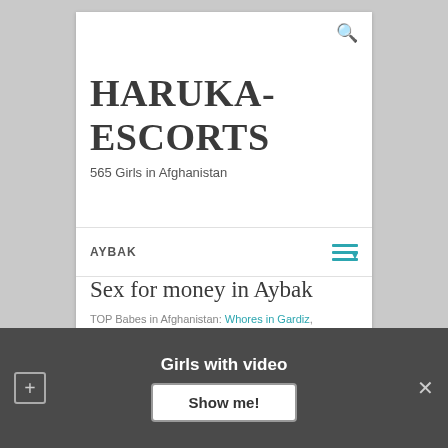HARUKA-ESCORTS
565 Girls in Afghanistan
AYBAK
Sex for money in Aybak
TOP Babes in Afghanistan: Whores in Gardiz, Hookers in Afghanistan, ... in Mayda Shahr
Girls with video
Show me!